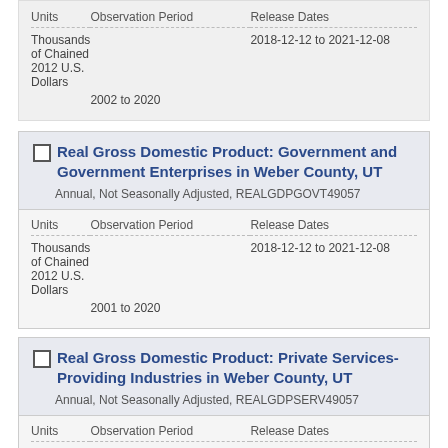| Units | Observation Period | Release Dates |
| --- | --- | --- |
| Thousands of Chained 2012 U.S. Dollars | 2018-12-12 to 2021-12-08 |  |
|  | 2002 to 2020 |  |
Real Gross Domestic Product: Government and Government Enterprises in Weber County, UT
Annual, Not Seasonally Adjusted, REALGDPGOVT49057
| Units | Observation Period | Release Dates |
| --- | --- | --- |
| Thousands of Chained 2012 U.S. Dollars | 2018-12-12 to 2021-12-08 |  |
|  | 2001 to 2020 |  |
Real Gross Domestic Product: Private Services-Providing Industries in Weber County, UT
Annual, Not Seasonally Adjusted, REALGDPSERV49057
| Units | Observation Period | Release Dates |
| --- | --- | --- |
| Thousands of Chained 2012 U.S. Dollars | 2018-12-12 to 2021-12-08 |  |
|  | 2002 to 2020 |  |